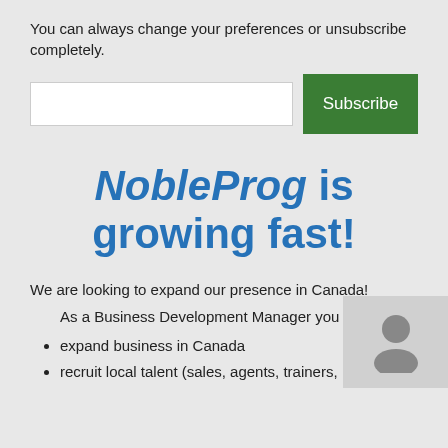You can always change your preferences or unsubscribe completely.
[Figure (screenshot): Email input field and Subscribe button]
NobleProg is growing fast!
We are looking to expand our presence in Canada!
As a Business Development Manager you w
expand business in Canada
recruit local talent (sales, agents, trainers,